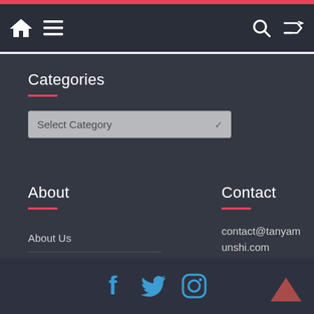Navigation bar with home icon, menu icon, search icon, shuffle icon
Categories
Select Category
About
About Us
Certificate Writing Course
Contact
contact@tanyamunshi.com
Social icons: Facebook, Twitter, Instagram; Up arrow chevron